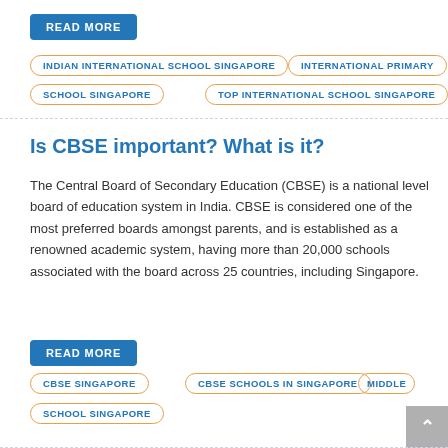READ MORE
INDIAN INTERNATIONAL SCHOOL SINGAPORE
INTERNATIONAL PRIMARY SCHOOL SINGAPORE
TOP INTERNATIONAL SCHOOL SINGAPORE
Is CBSE important? What is it?
The Central Board of Secondary Education (CBSE) is a national level board of education system in India. CBSE is considered one of the most preferred boards amongst parents, and is established as a renowned academic system, having more than 20,000 schools associated with the board across 25 countries, including Singapore.
READ MORE
CBSE SINGAPORE
CBSE SCHOOLS IN SINGAPORE
MIDDLE SCHOOL SINGAPORE